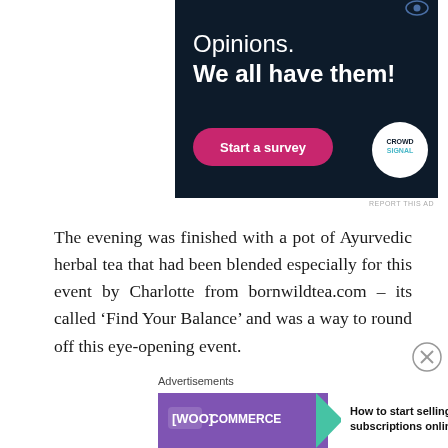[Figure (infographic): Dark navy advertisement banner for CrowdSignal with text 'Opinions. We all have them!' and a pink 'Start a survey' button, and CrowdSignal logo in white circle]
REPORT THIS AD
The evening was finished with a pot of Ayurvedic herbal tea that had been blended especially for this event by Charlotte from bornwildtea.com – its called ‘Find Your Balance’ and was a way to round off this eye-opening event.
Advertisements
[Figure (infographic): WooCommerce advertisement: purple left section with WooCommerce logo and green arrow, white right section with text 'How to start selling subscriptions online', orange and teal shapes on right edge]